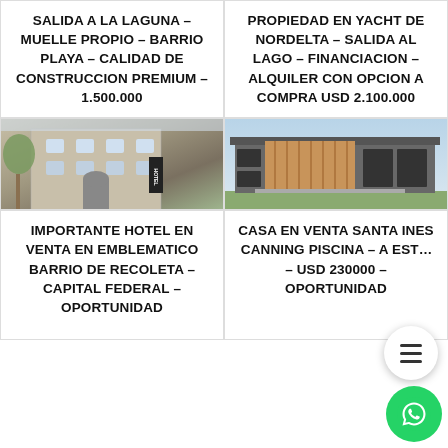SALIDA A LA LAGUNA – MUELLE PROPIO – BARRIO PLAYA – CALIDAD DE CONSTRUCCION PREMIUM – 1.500.000
PROPIEDAD EN YACHT DE NORDELTA – SALIDA AL LAGO – FINANCIACION – ALQUILER CON OPCION A COMPRA USD 2.100.000
[Figure (photo): Exterior photo of a classic hotel building with trees and a Hotel sign]
[Figure (photo): Exterior photo of a modern house with wooden cladding and flat roof]
IMPORTANTE HOTEL EN VENTA EN EMBLEMATICO BARRIO DE RECOLETA – CAPITAL FEDERAL – OPORTUNIDAD
CASA EN VENTA SANTA INES CANNING PISCINA – A EST… – USD 230000 – OPORTUNIDAD